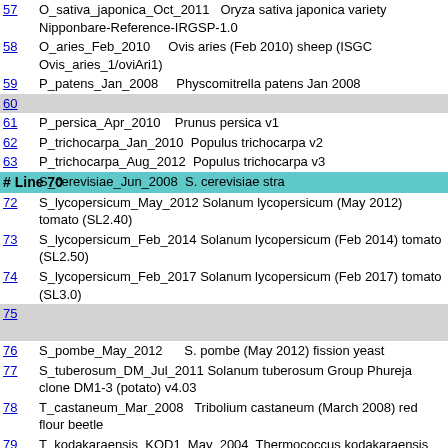| # | Entry | Description |
| --- | --- | --- |
| 57 | O_sativa_japonica_Oct_2011 | Oryza sativa japonica variety Nipponbare-Reference-IRGSP-1.0 |
| 58 | O_aries_Feb_2010 | Ovis aries (Feb 2010) sheep (ISGC Ovis_aries_1/oviAri1) |
| 59 | P_patens_Jan_2008 | Physcomitrella patens Jan 2008 |
| 60 |  |  |
| 61 | P_persica_Apr_2010 | Prunus persica v1 |
| 62 | P_trichocarpa_Jan_2010 | Populus trichocarpa v2 |
| 63 | P_trichocarpa_Aug_2012 | Populus trichocarpa v3 |
| # Line 70 | S_cerevisiae_Jun_2008 | S. cerevisiae stra... |
| 72 | S_lycopersicum_May_2012 | Solanum lycopersicum (May 2012) tomato (SL2.40) |
| 73 | S_lycopersicum_Feb_2014 | Solanum lycopersicum (Feb 2014) tomato (SL2.50) |
| 74 | S_lycopersicum_Feb_2017 | Solanum lycopersicum (Feb 2017) tomato (SL3.0) |
| 75 |  |  |
| 76 | S_pombe_May_2012 | S. pombe (May 2012) fission yeast |
| 77 | S_tuberosum_DM_Jul_2011 | Solanum tuberosum Group Phureja clone DM1-3 (potato) v4.03 |
| 78 | T_castaneum_Mar_2008 | Tribolium castaneum (March 2008) red flour beetle |
| 79 | T_kodakaraensis_KOD1_May_2004 | Thermococcus kodakaraensis May 2004 |
| 80 | T_parvula_May_2012 | Thellungiella parvula (salt cress) v2, May 2012 |
| 81 | T_rubripes_Oct_2011 | Takifugu rubripes (Oct 2011) Fugu (FUGU5/fr3) |